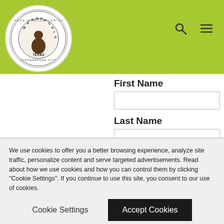[Figure (logo): Waxahachie Texas Crape Myrtle Capital Gingerbread City circular seal/logo]
First Name
Last Name
Email Address
Sign me up for email updates
We use cookies to offer you a better browsing experience, analyze site traffic, personalize content and serve targeted advertisements. Read about how we use cookies and how you can control them by clicking "Cookie Settings". If you continue to use this site, you consent to our use of cookies.
Cookie Settings
Accept Cookies